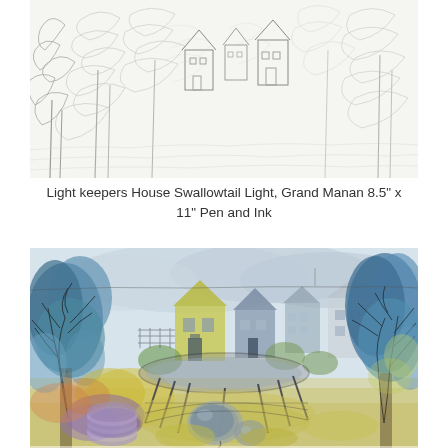[Figure (illustration): A pencil sketch of buildings and trees, loosely drawn in graphite, showing structures and foliage in a rough gestural style.]
Light keepers House Swallowtail Light, Grand Manan 8.5" x 11" Pen and Ink
[Figure (illustration): A colorful watercolor and ink painting of a backyard scene with houses in the background, large blue-green trees on sides, a trampoline in the middle, and pumpkins/garden elements in the foreground. Colors include blues, greens, yellows, purples.]